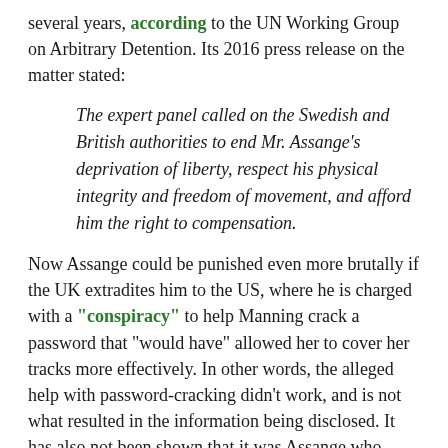several years, according to the UN Working Group on Arbitrary Detention. Its 2016 press release on the matter stated:
The expert panel called on the Swedish and British authorities to end Mr. Assange's deprivation of liberty, respect his physical integrity and freedom of movement, and afford him the right to compensation.
Now Assange could be punished even more brutally if the UK extradites him to the US, where he is charged with a "conspiracy" to help Manning crack a password that "would have" allowed her to cover her tracks more effectively. In other words, the alleged help with password-cracking didn't work, and is not what resulted in the information being disclosed. It has also not been shown that it was Assange who offered the help, according to Kevin Gosztola (Shadowproof, 4/11/19). The government's lack of proof of its charges might explain why Manning is in jail again.